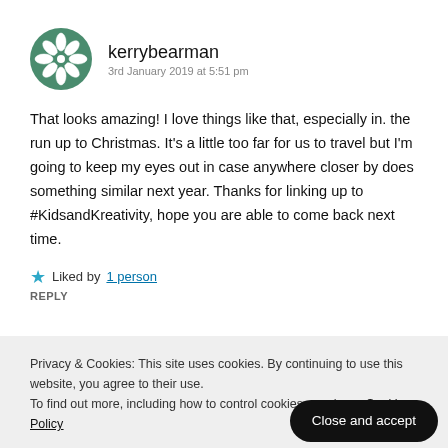[Figure (logo): Green snowflake/flower avatar icon for user kerrybearman]
kerrybearman
3rd January 2019 at 5:51 pm
That looks amazing! I love things like that, especially in. the run up to Christmas. It's a little too far for us to travel but I'm going to keep my eyes out in case anywhere closer by does something similar next year. Thanks for linking up to #KidsandKreativity, hope you are able to come back next time.
Liked by 1 person
REPLY
Privacy & Cookies: This site uses cookies. By continuing to use this website, you agree to their use.
To find out more, including how to control cookies, see here: Cookie Policy
Close and accept